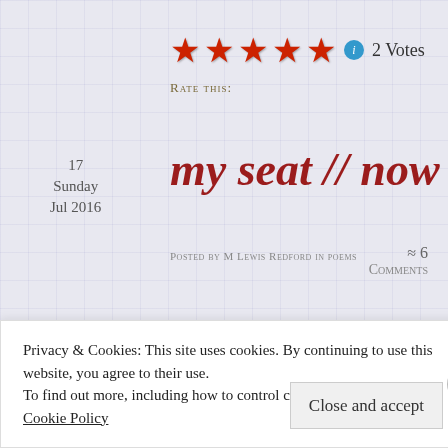[Figure (other): Five red stars rating widget with info icon, showing 2 Votes]
Rate this:
17
Sunday
Jul 2016
my seat // now
Posted by M Lewis Redford in poems
≈ 6 Comments
Privacy & Cookies: This site uses cookies. By continuing to use this website, you agree to their use.
To find out more, including how to control cookies, see here:
Cookie Policy
Close and accept